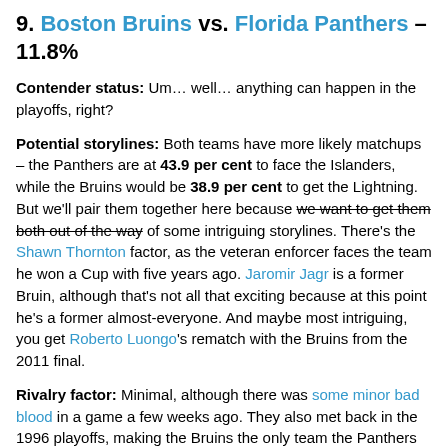9. Boston Bruins vs. Florida Panthers – 11.8%
Contender status: Um… well… anything can happen in the playoffs, right?
Potential storylines: Both teams have more likely matchups – the Panthers are at 43.9 per cent to face the Islanders, while the Bruins would be 38.9 per cent to get the Lightning. But we'll pair them together here because we want to get them both out of the way of some intriguing storylines. There's the Shawn Thornton factor, as the veteran enforcer faces the team he won a Cup with five years ago. Jaromir Jagr is a former Bruin, although that's not all that exciting because at this point he's a former almost-everyone. And maybe most intriguing, you get Roberto Luongo's rematch with the Bruins from the 2011 final.
Rivalry factor: Minimal, although there was some minor bad blood in a game a few weeks ago. They also met back in the 1996 playoffs, making the Bruins the only team the Panthers have ever beaten in the opening round.